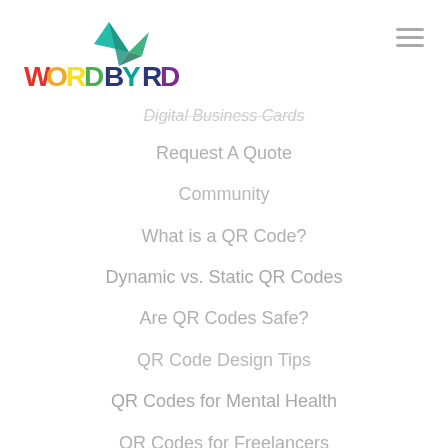[Figure (logo): WORDBYRD logo with colorful letters and a teal/green bird graphic]
Digital Business Cards
Request A Quote
Community
What is a QR Code?
Dynamic vs. Static QR Codes
Are QR Codes Safe?
QR Code Design Tips
QR Codes for Mental Health
QR Codes for Freelancers